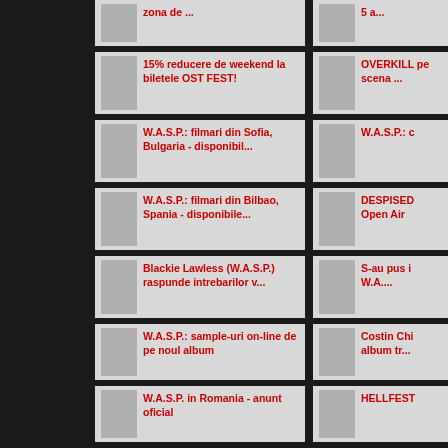zona de ...
5 a...
15% reducere de weekend la biletele OST FEST!
OVERKILL pe scena ...
W.A.S.P.: filmari din Sofia, Bulgaria - disponibil...
W.A.S.P.: c
W.A.S.P.: filmari din Bilbao, Spania - disponibile...
DESPISED Open Air
Blackie Lawless (W.A.S.P.) raspunde intrebarilor v...
S-au pus in W.A....
W.A.S.P.: sample-uri on-line de pe noul album
Costin Chi album tr...
W.A.S.P. in Romania - anunt oficial
HELLFEST
WASP si TWISTED SISTER: concerte gratuite in Bulga...
W.A.S.P.: c
MAXIMUM ROCK FESTIVAL: sesiune de autografe si alt...
MAXIMUM
MAXIMUM ROCK FESTIVAL: informatii bilete
MAXIMUM